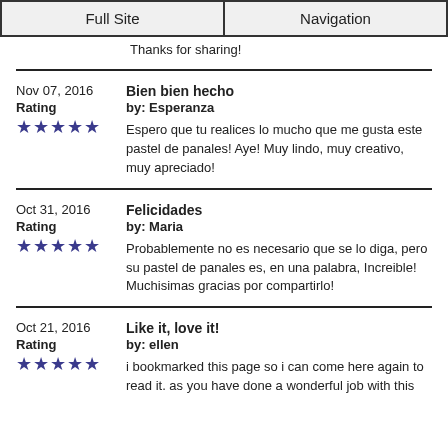Full Site | Navigation
Thanks for sharing!
Nov 07, 2016
Rating
★★★★★
Bien bien hecho
by: Esperanza
Espero que tu realices lo mucho que me gusta este pastel de panales! Aye! Muy lindo, muy creativo, muy apreciado!
Oct 31, 2016
Rating
★★★★★
Felicidades
by: Maria
Probablemente no es necesario que se lo diga, pero su pastel de panales es, en una palabra, Increible! Muchisimas gracias por compartirlo!
Oct 21, 2016
Rating
★★★★★
Like it, love it!
by: ellen
i bookmarked this page so i can come here again to read it. as you have done a wonderful job with this